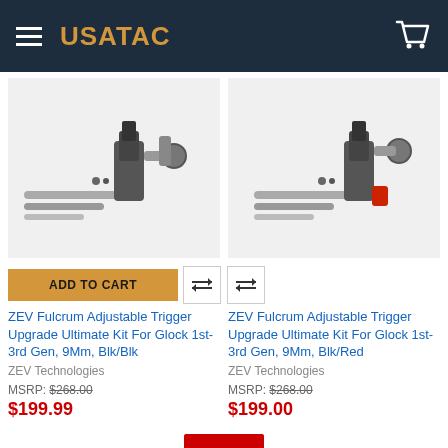USATAC
[Figure (photo): ZEV Fulcrum Adjustable Trigger Upgrade Ultimate Kit For Glock 1st-3rd Gen, 9Mm, Blk/Blk - product image showing trigger components]
[Figure (photo): ZEV Fulcrum Adjustable Trigger Upgrade Ultimate Kit For Glock 1st-3rd Gen, 9Mm, Blk/Red - product image showing trigger components with red accent]
ADD TO CART
ZEV Fulcrum Adjustable Trigger Upgrade Ultimate Kit For Glock 1st-3rd Gen, 9Mm, Blk/Blk
ZEV Technologies
MSRP: $268.00
$199.99
ZEV Fulcrum Adjustable Trigger Upgrade Ultimate Kit For Glock 1st-3rd Gen, 9Mm, Blk/Red
ZEV Technologies
MSRP: $268.00
$199.00